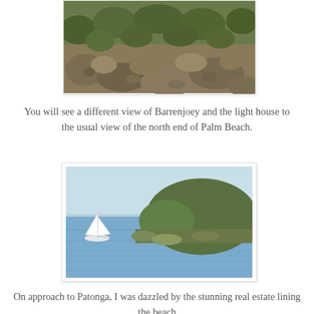[Figure (photo): Partial view of rocky hillside with vegetation — cropped at top, showing boulders and scrubby bush]
You will see a different view of Barrenjoey and the light house to the usual view of the north end of Palm Beach.
[Figure (photo): A sailboat on blue water with a large green headland (Barrenjoey) in the background under a pale blue sky]
On approach to Patonga, I was dazzled by the stunning real estate lining the beach